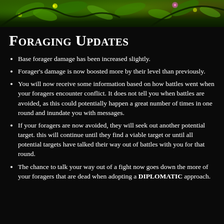[Figure (illustration): Decorative banner image showing green foliage, leaves, and flowers against a dark background]
Foraging Updates
Base forager damage has been increased slightly.
Forager's damage is now boosted more by their level than previously.
You will now receive some information based on how battles went when your foragers encounter conflict. It does not tell you when battles are avoided, as this could potentially happen a great number of times in one round and inundate you with messages.
If your foragers are now avoided, they will seek out another potential target. this will continue until they find a viable target or until all potential targets have talked their way out of battles with you for that round.
The chance to talk your way out of a fight now goes down the more of your foragers that are dead when adopting a DIPLOMATIC approach.